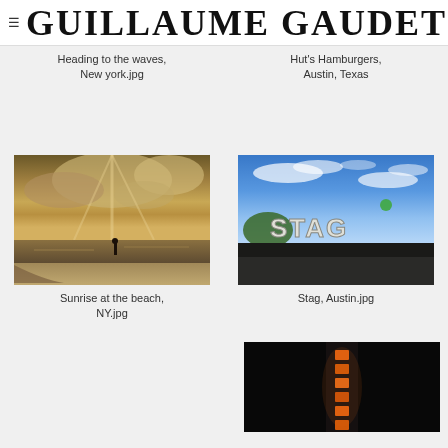GUILLAUME GAUDET
Heading to the waves, New york.jpg
Hut's Hamburgers, Austin, Texas
[Figure (photo): Sunrise at the beach with silhouette of person walking, cloudy dramatic sky over ocean]
Sunrise at the beach, NY.jpg
[Figure (photo): STAG sign on rooftop against blue sky with wispy clouds]
Stag, Austin.jpg
[Figure (photo): Night shot of illuminated building or sign with orange lights against dark sky]